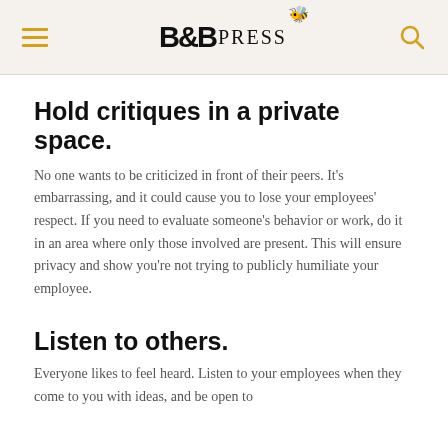B&B PRESS
Hold critiques in a private space.
No one wants to be criticized in front of their peers. It's embarrassing, and it could cause you to lose your employees' respect. If you need to evaluate someone's behavior or work, do it in an area where only those involved are present. This will ensure privacy and show you're not trying to publicly humiliate your employee.
Listen to others.
Everyone likes to feel heard. Listen to your employees when they come to you with ideas, and be open to